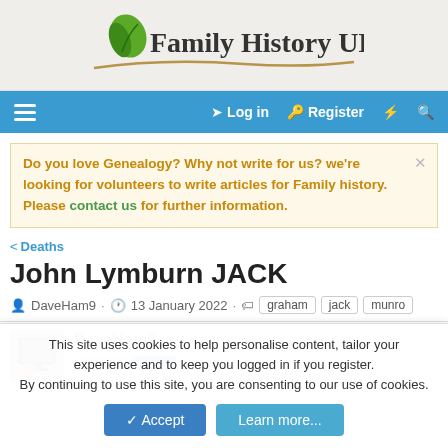[Figure (logo): Family History UK logo with green leaf and brown curved underline]
Log in  Register
Do you love Genealogy? Why not write for us? we're looking for volunteers to write articles for Family history. Please contact us for further information.
< Deaths
John Lymburn JACK
DaveHam9 · 13 January 2022 · graham jack munro
DaveHam9
This site uses cookies to help personalise content, tailor your experience and to keep you logged in if you register. By continuing to use this site, you are consenting to our use of cookies.